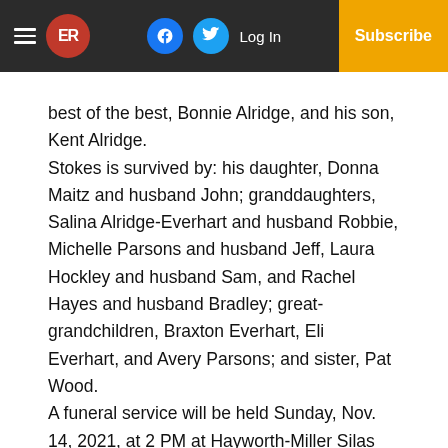ER | Log In | Subscribe
best of the best, Bonnie Alridge, and his son, Kent Alridge.
Stokes is survived by: his daughter, Donna Maitz and husband John; granddaughters, Salina Alridge-Everhart and husband Robbie, Michelle Parsons and husband Jeff, Laura Hockley and husband Sam, and Rachel Hayes and husband Bradley; great-grandchildren, Braxton Everhart, Eli Everhart, and Avery Parsons; and sister, Pat Wood.
A funeral service will be held Sunday, Nov. 14, 2021, at 2 PM at Hayworth-Miller Silas Creek Chapel.
Interment will follow the service at Oak Grove United